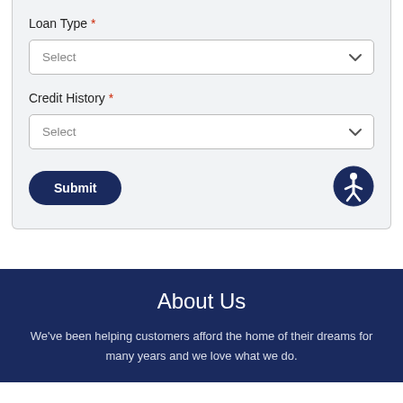Loan Type *
Select
Credit History *
Select
Submit
About Us
We've been helping customers afford the home of their dreams for many years and we love what we do.